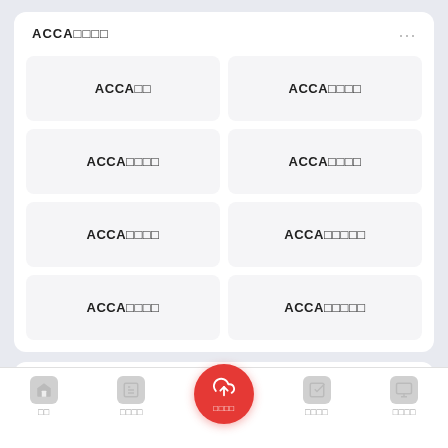ACCA课程
ACCA基础
ACCA高级课程
ACCA模拟题库
ACCA历年真题
ACCA考试攻略
ACCA考前冲刺班
ACCA习题集
ACCA学习计划
常见问题
关于ACCA考试报名和学习资料的常见问题解答
首页 · 课程管理 · 上传课程 · 学习记录 · 个人中心